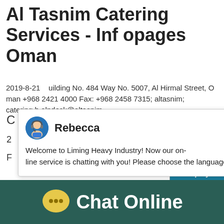Al Tasnim Catering Services - Infopages Oman
2019-8-21    uilding No. 484 Way No. 5007, Al Hirmal Street, Oman +968 2421 4000 Fax: +968 2458 7315; altasnim; catering.helpdesk@altasnim
[Figure (screenshot): Chat popup with avatar of Rebecca, message 'Welcome to Liming Heavy Industry! Now our on-line service is chatting with you! Please choose the language:']
[Figure (screenshot): Five orange star rating icons]
[Figure (screenshot): Blue chat widget on right with badge showing '1' and 'Click me to chat >>' button and 'Enquiry' label at bottom]
[Figure (photo): Light blue sky/cloud photo area]
[Figure (infographic): Dark teal footer bar with yellow speech bubble icon and white 'Chat Online' text]